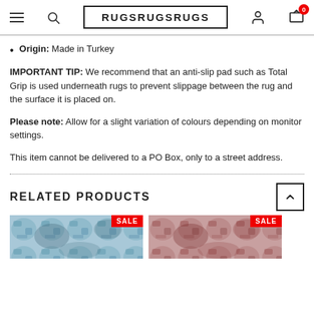RUGSRUGSRUGS — navigation header with hamburger, search, logo, user, and cart (0) icons
Origin: Made in Turkey
IMPORTANT TIP: We recommend that an anti-slip pad such as Total Grip is used underneath rugs to prevent slippage between the rug and the surface it is placed on.
Please note: Allow for a slight variation of colours depending on monitor settings.
This item cannot be delivered to a PO Box, only to a street address.
RELATED PRODUCTS
[Figure (photo): Two rug product thumbnails with SALE badges — left rug has blue/teal distressed pattern, right rug has red/pink distressed pattern]